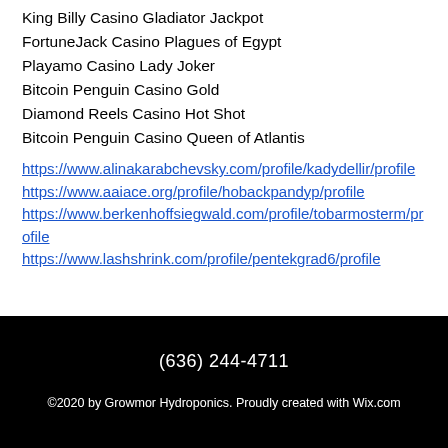King Billy Casino Gladiator Jackpot
FortuneJack Casino Plagues of Egypt
Playamo Casino Lady Joker
Bitcoin Penguin Casino Gold
Diamond Reels Casino Hot Shot
Bitcoin Penguin Casino Queen of Atlantis
https://www.alinakarabchevsky.com/profile/kadydellir/profile
https://www.aaiace.org/profile/hobackpandyp/profile
https://www.berkenhoffsiegwald.com/profile/tobarmosterm/profile
https://www.lashshrink.com/profile/pentekgrad6/profile
(636) 244-4711
©2020 by Growmor Hydroponics. Proudly created with Wix.com